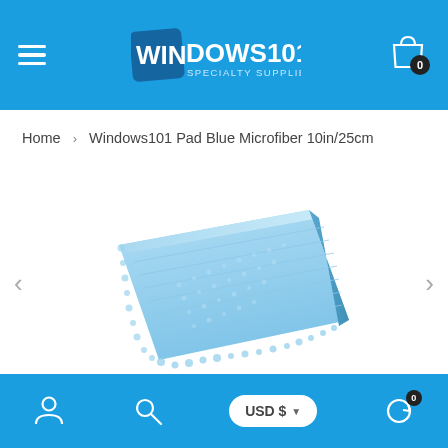WINDOWS101 SPECIALTY SUPPLIER — Header navigation bar
Home › Windows101 Pad Blue Microfiber 10in/25cm
[Figure (photo): Blue microfiber cleaning pad, rectangular, shown at an angle with textured surface. Product image for Windows101 Pad Blue Microfiber 10in/25cm.]
Footer navigation bar with user icon, search icon, USD $ currency selector, and refresh/cart icon with badge 0